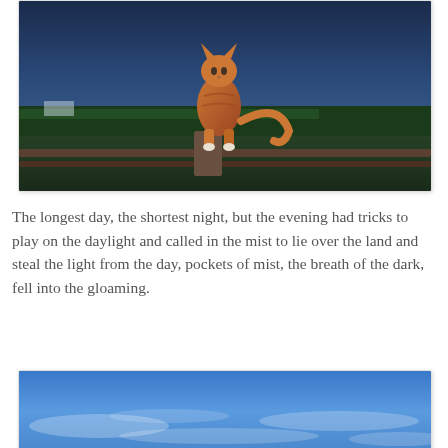[Figure (photo): An orange tabby cat standing on a wooden fence post at dusk, with green fields, hedgerows, and a farmhouse in the background under a dark blue evening sky.]
The longest day, the shortest night, but the evening had tricks to play on the daylight and called in the mist to lie over the land and steal the light from the day, pockets of mist, the breath of the dark, fell into the gloaming.
[Figure (photo): A blue sky with wispy clouds, photographed at dusk or dawn with soft light.]